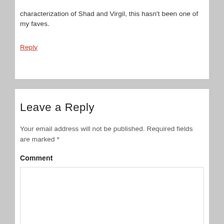characterization of Shad and Virgil, this hasn't been one of my faves.
Reply
Leave a Reply
Your email address will not be published. Required fields are marked *
Comment